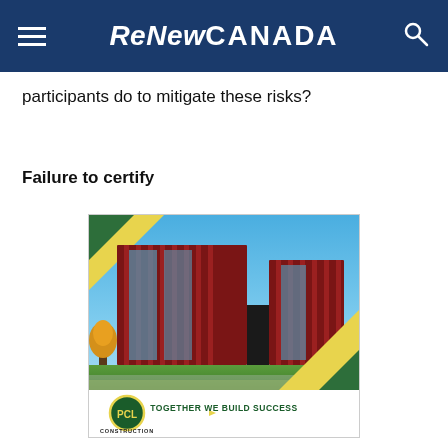ReNewCANADA
participants do to mitigate these risks?
Failure to certify
[Figure (photo): Advertisement showing a modern multi-story building with red cladding and glass, autumn trees, blue sky. PCL Construction ad with tagline TOGETHER WE BUILD SUCCESS.]